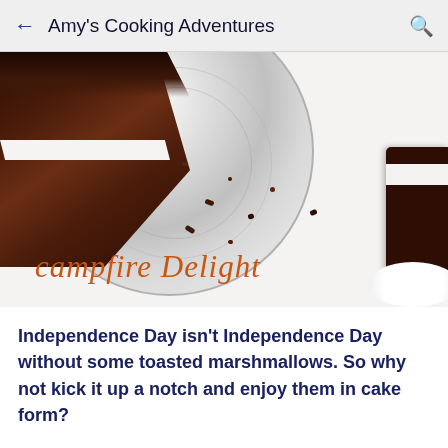Amy's Cooking Adventures
[Figure (photo): Top-down view of a chocolate layer cake with white marshmallow cream filling on a crystal cake stand, with a slice of cake on a white plate to the right, and 'campfire Delight' written in orange cursive text overlaid on the photo]
Independence Day isn’t Independence Day without some toasted marshmallows.  So why not kick it up a notch and enjoy them in cake form?